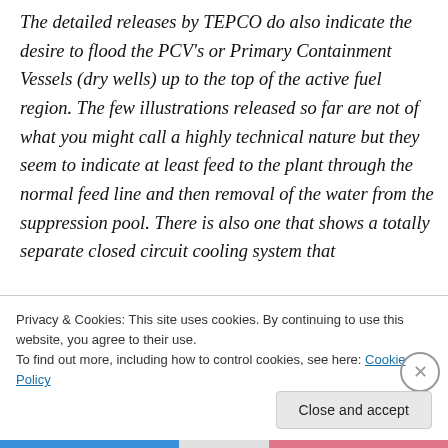The detailed releases by TEPCO do also indicate the desire to flood the PCV's or Primary Containment Vessels (dry wells) up to the top of the active fuel region. The few illustrations released so far are not of what you might call a highly technical nature but they seem to indicate at least feed to the plant through the normal feed line and then removal of the water from the suppression pool. There is also one that shows a totally separate closed circuit cooling system that
Privacy & Cookies: This site uses cookies. By continuing to use this website, you agree to their use.
To find out more, including how to control cookies, see here: Cookie Policy